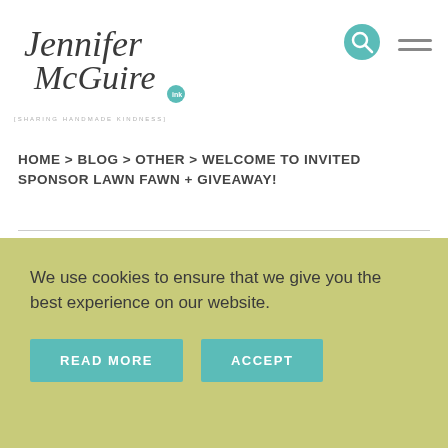[Figure (logo): Jennifer McGuire Ink logo with script text and sharing handmade kindness tagline]
HOME > BLOG > OTHER > WELCOME TO INVITED SPONSOR LAWN FAWN + GIVEAWAY!
WELCOME TO INVITED SPONSOR LAWN FAWN
We use cookies to ensure that we give you the best experience on our website.
READ MORE   ACCEPT